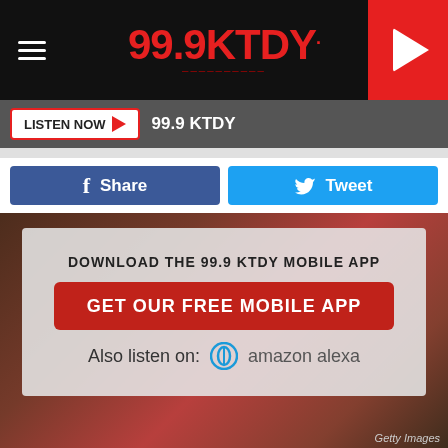99.9KTDY
LISTEN NOW  99.9 KTDY
Share
Tweet
DOWNLOAD THE 99.9 KTDY MOBILE APP
GET OUR FREE MOBILE APP
Also listen on:  amazon alexa
Getty Images